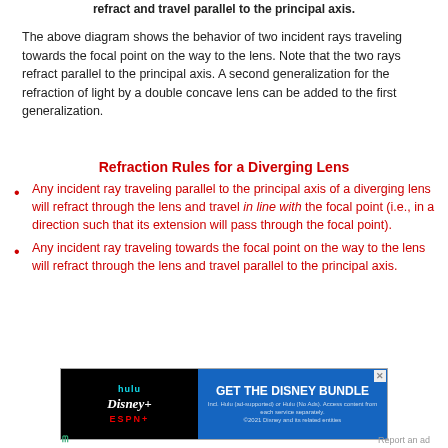refract and travel parallel to the principal axis.
The above diagram shows the behavior of two incident rays traveling towards the focal point on the way to the lens. Note that the two rays refract parallel to the principal axis. A second generalization for the refraction of light by a double concave lens can be added to the first generalization.
Refraction Rules for a Diverging Lens
Any incident ray traveling parallel to the principal axis of a diverging lens will refract through the lens and travel in line with the focal point (i.e., in a direction such that its extension will pass through the focal point).
Any incident ray traveling towards the focal point on the way to the lens will refract through the lens and travel parallel to the principal axis.
[Figure (other): Advertisement for the Disney Bundle featuring Hulu, Disney+, and ESPN+ logos with a blue call-to-action panel reading 'GET THE DISNEY BUNDLE']
Report an ad